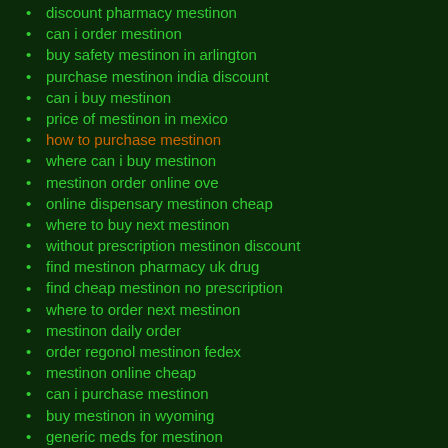discount pharmacy mestinon
can i order mestinon
buy safety mestinon in arlington
purchase mestinon india discount
can i buy mestinon
price of mestinon in mexico
how to purchase mestinon
where can i buy mestinon
mestinon order online ove
online dispensary mestinon cheap
where to buy next mestinon
without prescription mestinon discount
find mestinon pharmacy uk drug
find cheap mestinon no prescription
where to order next mestinon
mestinon daily order
order regonol mestinon fedex
mestinon online cheap
can i purchase mestinon
buy mestinon in wyoming
generic meds for mestinon
online pharmacy mestinon cheap
purchase mestinon italia order